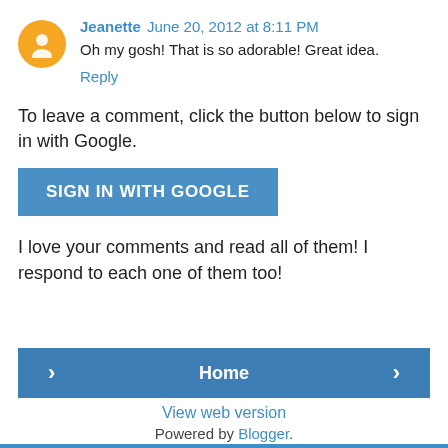Jeanette June 20, 2012 at 8:11 PM
Oh my gosh! That is so adorable! Great idea.
Reply
To leave a comment, click the button below to sign in with Google.
[Figure (other): Blue button with text SIGN IN WITH GOOGLE]
I love your comments and read all of them! I respond to each one of them too!
[Figure (other): Navigation bar with left arrow button, Home button, and right arrow button]
View web version
Powered by Blogger.